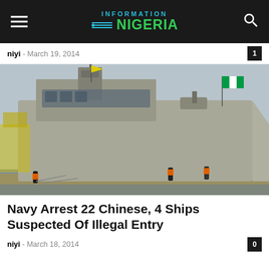INFORMATION NIGERIA
niyi - March 19, 2014
[Figure (photo): A large Nigerian naval warship docked at port, with crew members in orange vests on the dock. A Nigerian flag flies from the stern. The ship is grey and heavily armed.]
Navy Arrest 22 Chinese, 4 Ships Suspected Of Illegal Entry
niyi - March 18, 2014